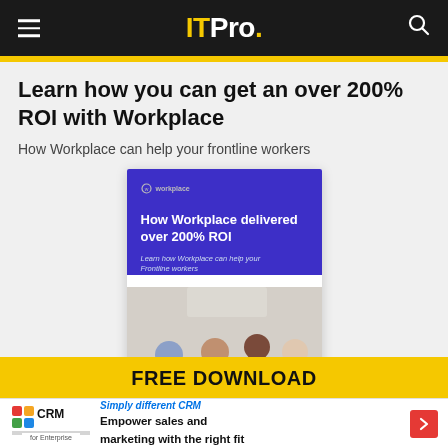ITPro.
Learn how you can get an over 200% ROI with Workplace
How Workplace can help your frontline workers
[Figure (illustration): Book cover for 'How Workplace delivered over 200% ROI' report, showing a purple/blue header with white text and a photo of office workers collaborating around a table]
FREE DOWNLOAD
[Figure (logo): Zoho CRM for Enterprise advertisement banner with text 'Simply different CRM - Empower sales and marketing with the right fit' and a red arrow button]